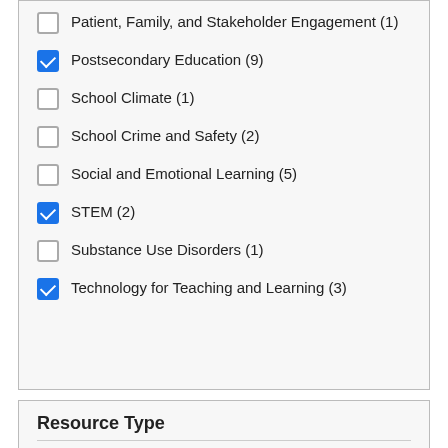Patient, Family, and Stakeholder Engagement (1)
Postsecondary Education (9)
School Climate (1)
School Crime and Safety (2)
Social and Emotional Learning (5)
STEM (2)
Substance Use Disorders (1)
Technology for Teaching and Learning (3)
Resource Type
Blog post (10)
Brief (4)